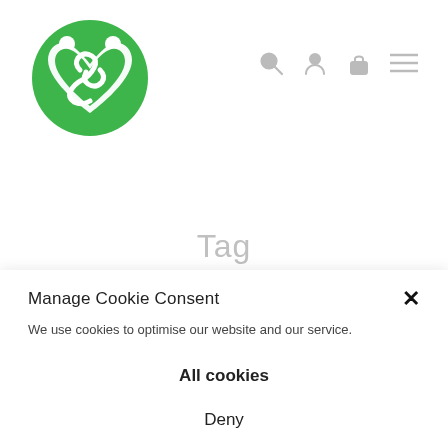[Figure (logo): Green circular logo with stylized figures and heart shape forming 'SZ' letters]
[Figure (infographic): Navigation icons: search (magnifying glass), user account, shopping bag/lock, and hamburger menu lines — all in light gray]
Tag
Manage Cookie Consent
We use cookies to optimise our website and our service.
All cookies
Deny
Cookie policy   Privacy Policy